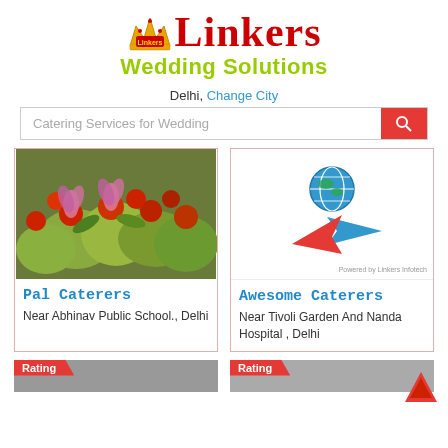[Figure (logo): Linkers Wedding Solutions logo with crown icon, red serif Linkers text, and olive/yellow-green Wedding Solutions subtitle]
Delhi, Change City
Catering Services for Wedding (search bar)
[Figure (photo): Close-up photo of Indian food items, possibly paan or stuffed vegetables with red and green decorations]
Pal Caterers
Near Abhinav Public School., Delhi
[Figure (logo): Awesome Caterers logo with globe and arrow/X graphic. Powered by Linkers Infotech watermark.]
Awesome Caterers
Near Tivoli Garden And Nanda Hospital , Delhi
Rating
Rating